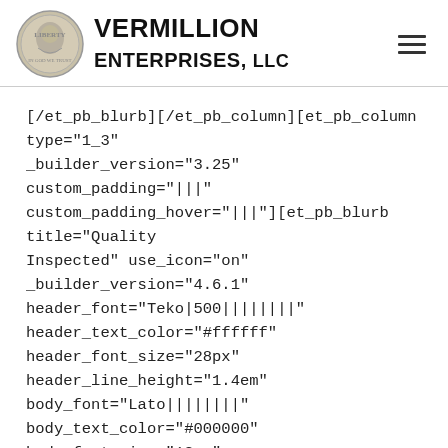VERMILLION ENTERPRISES, LLC
[/et_pb_blurb][/et_pb_column][et_pb_column type="1_3" _builder_version="3.25" custom_padding="|||" custom_padding_hover="|||"][et_pb_blurb title="Quality Inspected" use_icon="on" _builder_version="4.6.1" header_font="Teko|500||||||" header_text_color="#ffffff" header_font_size="28px" header_line_height="1.4em" body_font="Lato||||||||" body_text_color="#000000" body_font_size="18px" body_line_height="1.8em" text_orientation="center" locked="off"]
[/et_pb_blurb][/et_pb_column][et_pb_column type="1_3" _builder_version="3.25" custom_padding="|||"